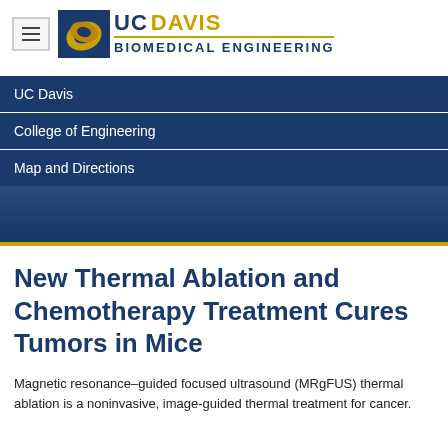[Figure (logo): UC Davis Biomedical Engineering logo with gold UC DAVIS text, blue BIOMEDICAL ENGINEERING text, gold divider line, and blue/gold leaf emblem, with hamburger menu button]
UC Davis
College of Engineering
Map and Directions
New Thermal Ablation and Chemotherapy Treatment Cures Tumors in Mice
Magnetic resonance–guided focused ultrasound (MRgFUS) thermal ablation is a noninvasive, image-guided thermal treatment for cancer.